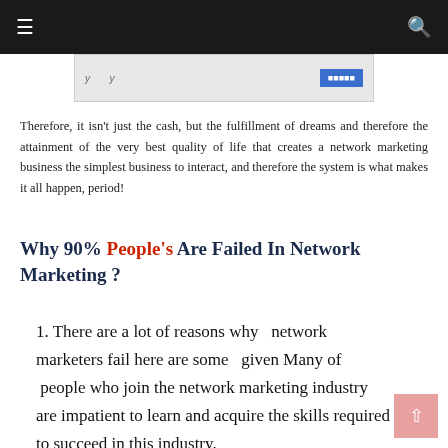≡  [search icon]
[Figure (other): Advertisement banner with italic text and a blue button]
Therefore, it isn't just the cash, but the fulfillment of dreams and therefore the attainment of the very best quality of life that creates a network marketing business the simplest business to interact, and therefore the system is what makes it all happen, period!
Why 90% People's Are Failed In Network Marketing ?
1. There are a lot of reasons why  network marketers fail here are some  given Many of  people who join the network marketing industry are impatient to learn and acquire the skills required to succeed in this industry.